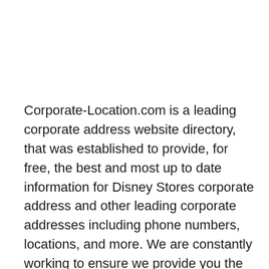Corporate-Location.com is a leading corporate address website directory, that was established to provide, for free, the best and most up to date information for Disney Stores corporate address and other leading corporate addresses including phone numbers, locations, and more. We are constantly working to ensure we provide you the best Disney Stores details and information.